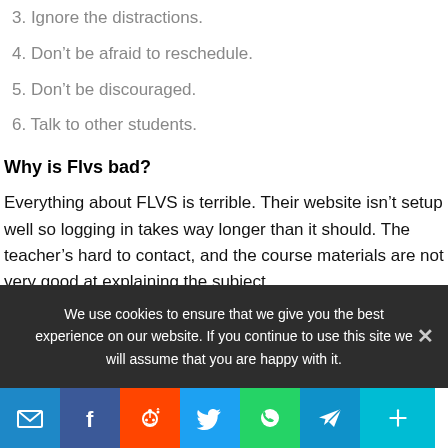3. Ignore the distractions.
4. Don’t be afraid to reschedule.
5. Don’t be discouraged.
6. Talk to other students.
Why is Flvs bad?
Everything about FLVS is terrible. Their website isn’t setup well so logging in takes way longer than it should. The teacher’s hard to contact, and the course materials are not very good at explaining the subject.
What is a discussion based assessment Flvs?
We use cookies to ensure that we give you the best experience on our website. If you continue to use this site we will assume that you are happy with it.